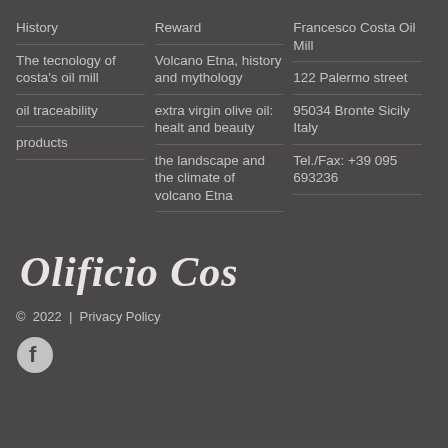History
The tecnology of costa's oil mill
oil traceability
products
Reward
Volcano Etna, history and mythology
extra virgin olive oil: healt and beauty
the landscape and the climate of volcano Etna
Francesco Costa Oil Mill
122 Palermo street
95034 Bronte Sicily Italy
Tel./Fax: +39 095 693236
[Figure (logo): Olificio Costa cursive script logo in white on dark background]
© 2022  |  Privacy Policy